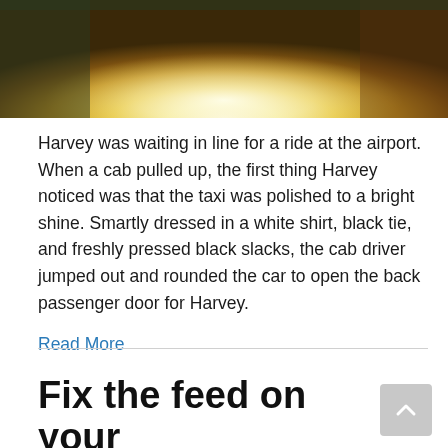[Figure (photo): Close-up photo of a fluffy yellow chick or small bird with bright backlit fur/feathers, blurred dark and warm background]
Harvey was waiting in line for a ride at the airport. When a cab pulled up, the first thing Harvey noticed was that the taxi was polished to a bright shine. Smartly dressed in a white shirt, black tie, and freshly pressed black slacks, the cab driver jumped out and rounded the car to open the back passenger door for Harvey.
Read More
Fix the feed on your